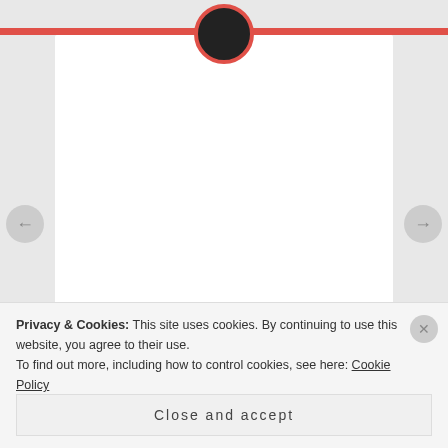rebsdanger
Yes! It's got the same fast paced, absurd humor as 30 Rock. I love that kind of comedy, so I was cracking up.
↳ REPLY
MARCH 26, 2015 AT 6:33 PM
Privacy & Cookies: This site uses cookies. By continuing to use this website, you agree to their use.
To find out more, including how to control cookies, see here: Cookie Policy
Close and accept